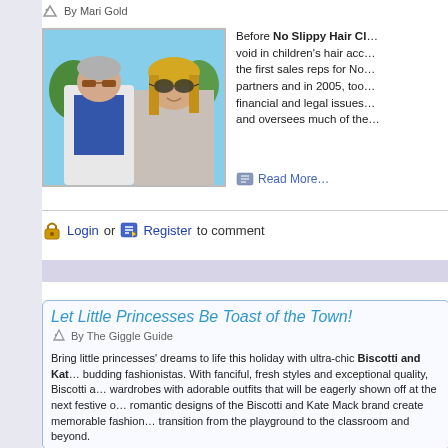By Mari Gold
[Figure (photo): Photo of a man and woman wearing sunglasses, outdoors]
Before No Slippy Hair Cl... void in children's hair acc... the first sales reps for No... partners and in 2005, too... financial and legal issues... and oversees much of the...
Read More…
Login or Register to comment
Let Little Princesses Be Toast of the Town!
By The Giggle Guide
Bring little princesses' dreams to life this holiday with ultra-chic Biscotti and Kat... budding fashionistas. With fanciful, fresh styles and exceptional quality, Biscotti a... wardrobes with adorable outfits that will be eagerly shown off at the next festive o... romantic designs of the Biscotti and Kate Mack brand create memorable fashion... transition from the playground to the classroom and beyond.
Read More…